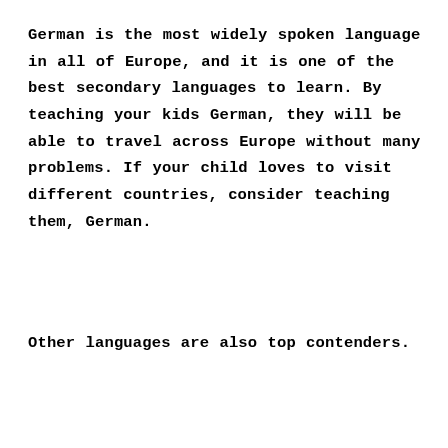German is the most widely spoken language in all of Europe, and it is one of the best secondary languages to learn. By teaching your kids German, they will be able to travel across Europe without many problems. If your child loves to visit different countries, consider teaching them, German.
Other languages are also top contenders.